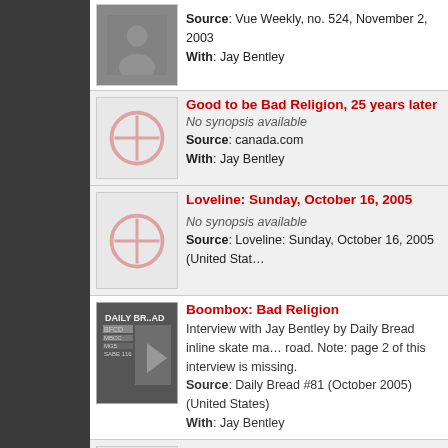Source: Vue Weekly, no. 524, November 2, 2003
With: Jay Bentley
Good to be Bad Religion, 25 years later
No synopsis available
Source: canada.com
With: Jay Bentley
Loveline: Sunday, October 16, 2005
No synopsis available
Source: Loveline: Sunday, October 16, 2005 (United States)
Boombox: Bad Religion
Interview with Jay Bentley by Daily Bread inline skate ma... road. Note: page 2 of this interview is missing.
Source: Daily Bread #81 (October 2005) (United States)
With: Jay Bentley
pennyblackmusic.co.uk
No synopsis available
Source: pennyblackmusic.co.uk (United Kingdom)
With: Jay Bentley
Lowlands 2005 interview
Interview with Jay Bentley at the Dutch Lowlands festival, the old Punk Rock attitude, music scene nowadays and p... same amount of fun as playing live!"